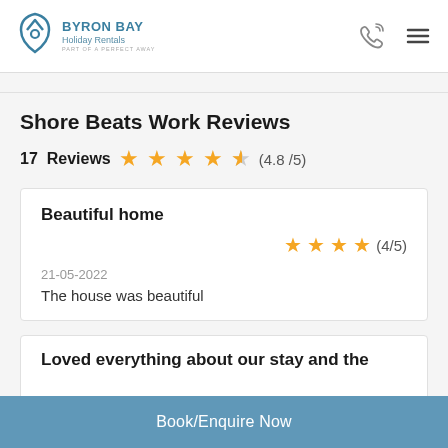BYRON BAY Holiday Rentals PART OF A PERFECT AWAY
Shore Beats Work Reviews
17 Reviews ★★★★½ (4.8/5)
Beautiful home
(4/5)
21-05-2022
The house was beautiful
Loved everything about our stay and the
Book/Enquire Now